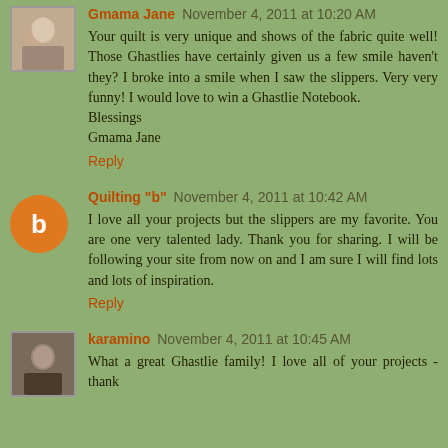[Figure (photo): Small avatar photo of Gmama Jane, shows people]
Gmama Jane  November 4, 2011 at 10:20 AM
Your quilt is very unique and shows of the fabric quite well! Those Ghastlies have certainly given us a few smile haven't they? I broke into a smile when I saw the slippers. Very very funny! I would love to win a Ghastlie Notebook.
Blessings
Gmama Jane
Reply
[Figure (logo): Orange circle Blogger icon with white B]
Quilting "b"  November 4, 2011 at 10:42 AM
I love all your projects but the slippers are my favorite. You are one very talented lady. Thank you for sharing. I will be following your site from now on and I am sure I will find lots and lots of inspiration.
Reply
[Figure (photo): Small avatar photo of karamino, dark portrait]
karamino  November 4, 2011 at 10:45 AM
What a great Ghastlie family! I love all of your projects - thank